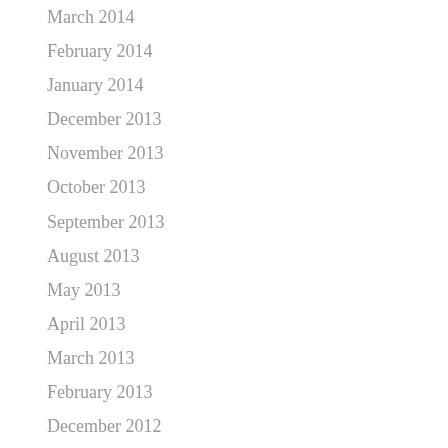March 2014
February 2014
January 2014
December 2013
November 2013
October 2013
September 2013
August 2013
May 2013
April 2013
March 2013
February 2013
December 2012
November 2012